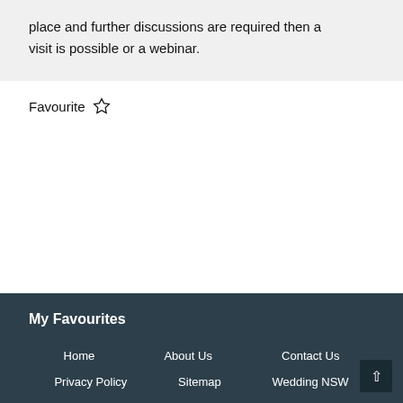place and further discussions are required then a visit is possible or a webinar.
Favourite ☆
My Favourites
Home   About Us   Contact Us   Privacy Policy   Sitemap   Wedding NSW